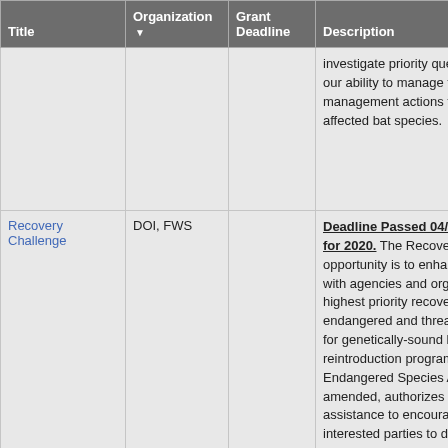| Title | Organization ▼ | Grant Deadline | Description |
| --- | --- | --- | --- |
|  |  |  | investigate priority questions our ability to manage the dis management actions that will affected bat species. |
| Recovery Challenge | DOI, FWS |  | Deadline Passed 04/26/201 for 2020. The Recovery cha opportunity is to enhance an with agencies and organizati highest priority recovery acti endangered and threatened for genetically-sound breedin reintroduction programs. Se Endangered Species Act of amended, authorizes the us assistance to encourage the interested parties to develo conservation programs to sa heritage in fish, wildlife and all citizens. In addition, the Appropriations Act of 2019 ( Cong. Div. E, Title I (2019)) a funding for the Recov... |